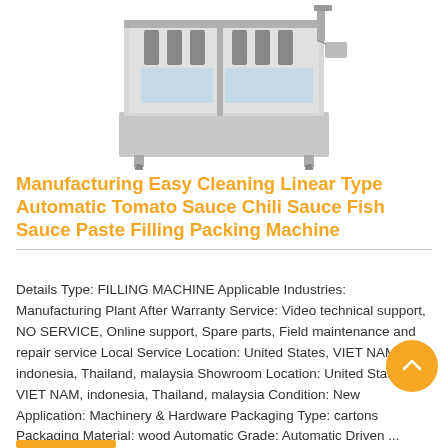[Figure (photo): Industrial filling machine — linear type automatic filling/packing machine in stainless steel casing with multiple filling heads]
Manufacturing Easy Cleaning Linear Type Automatic Tomato Sauce Chili Sauce Fish Sauce Paste Filling Packing Machine
Details Type: FILLING MACHINE Applicable Industries: Manufacturing Plant After Warranty Service: Video technical support, NO SERVICE, Online support, Spare parts, Field maintenance and repair service Local Service Location: United States, VIET NAM, indonesia, Thailand, malaysia Showroom Location: United States, VIET NAM, indonesia, Thailand, malaysia Condition: New Application: Machinery & Hardware Packaging Type: cartons Packaging Material: wood Automatic Grade: Automatic Driven ...